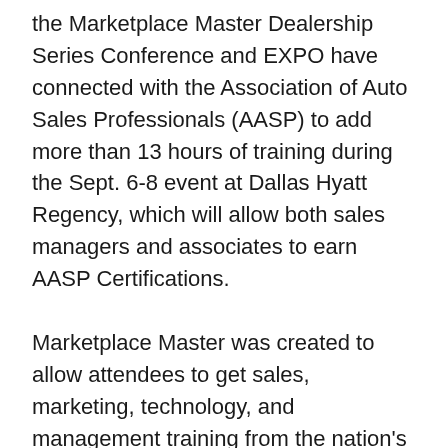the Marketplace Master Dealership Series Conference and EXPO have connected with the Association of Auto Sales Professionals (AASP) to add more than 13 hours of training during the Sept. 6-8 event at Dallas Hyatt Regency, which will allow both sales managers and associates to earn AASP Certifications.
Marketplace Master was created to allow attendees to get sales, marketing, technology, and management training from the nation's top experts, as well as large exposition where dealers can learn from and interact with the nation's top automotive